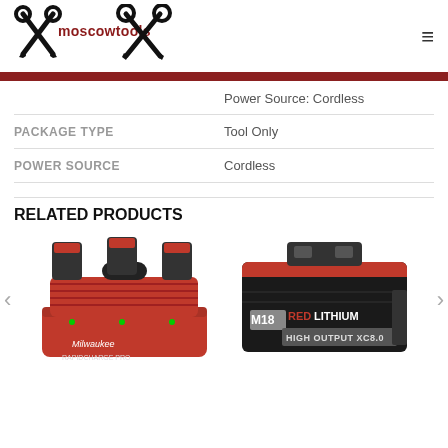[Figure (logo): Moscowtools logo with crossed wrenches and screwdrivers, text 'moscowtools' in red]
|  |  |
| --- | --- |
|  | Power Source: Cordless |
| PACKAGE TYPE | Tool Only |
| POWER SOURCE | Cordless |
RELATED PRODUCTS
[Figure (photo): Milwaukee red multi-port rapid battery charger with multiple batteries inserted]
[Figure (photo): Milwaukee M18 RED LITHIUM HIGH OUTPUT XC8.0 battery pack]